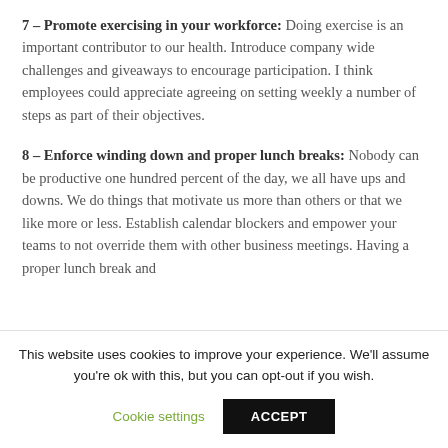7 – Promote exercising in your workforce: Doing exercise is an important contributor to our health. Introduce company wide challenges and giveaways to encourage participation. I think employees could appreciate agreeing on setting weekly a number of steps as part of their objectives.
8 – Enforce winding down and proper lunch breaks: Nobody can be productive one hundred percent of the day, we all have ups and downs. We do things that motivate us more than others or that we like more or less. Establish calendar blockers and empower your teams to not override them with other business meetings. Having a proper lunch break and
This website uses cookies to improve your experience. We'll assume you're ok with this, but you can opt-out if you wish.
Cookie settings  ACCEPT